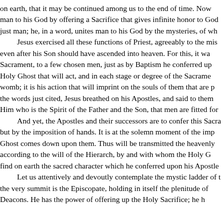on earth, that it may be continued among us to the end of time. Now man to his God by offering a Sacrifice that gives infinite honor to God just man; he, in a word, unites man to his God by the mysteries, of wh Jesus exercised all these functions of Priest, agreeably to the mis even after his Son should have ascended into heaven. For this, it wa Sacrament, to a few chosen men, just as by Baptism he conferred up Holy Ghost that will act, and in each stage or degree of the Sacrame womb; it is his action that will imprint on the souls of them that are p the words just cited, Jesus breathed on his Apostles, and said to them Him who is the Spirit of the Father and the Son, that men are fitted for And yet, the Apostles and their successors are to confer this Sacra but by the imposition of hands. It is at the solemn moment of the imp Ghost comes down upon them. Thus will be transmitted the heavenly according to the will of the Hierarch, by and with whom the Holy G find on earth the sacred character which he conferred upon his Apostle Let us attentively and devoutly contemplate the mystic ladder of t the very summit is the Episcopate, holding in itself the plenitude of Deacons. He has the power of offering up the Holy Sacrifice; he h